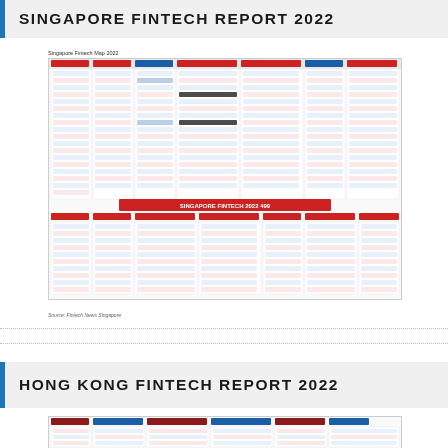SINGAPORE FINTECH REPORT 2022
[Figure (infographic): Singapore Fintech Map 2022 — a dense grid of company logos organized by fintech category, showing 499 companies. Source: Fintech News Singapore.]
Source: Fintech News Singapore
HONG KONG FINTECH REPORT 2022
[Figure (infographic): Hong Kong Fintech Map 2022 — a grid of company logos organized by fintech category (partially visible at bottom of page).]